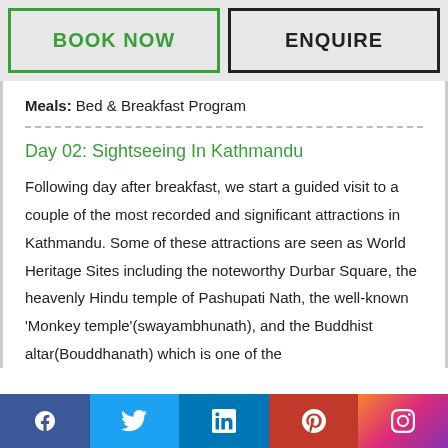BOOK NOW
ENQUIRE
Meals: Bed & Breakfast Program
Day 02: Sightseeing In Kathmandu
Following day after breakfast, we start a guided visit to a couple of the most recorded and significant attractions in Kathmandu. Some of these attractions are seen as World Heritage Sites including the noteworthy Durbar Square, the heavenly Hindu temple of Pashupati Nath, the well-known ‘Monkey temple’(swayambhunath), and the Buddhist altar(Bouddhanath) which is one of the
[Figure (infographic): Social media footer bar with Facebook, Twitter, LinkedIn, Pinterest, and Instagram icons]